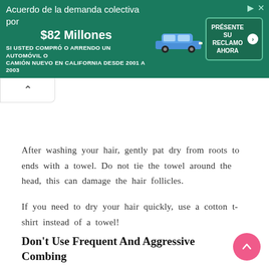[Figure (infographic): Green advertisement banner in Spanish for a class action lawsuit settlement of $82 million for people who bought or leased a new car or truck in California from 2001 to 2003. Includes a blue car image and a green 'PRESENTE SU RECLAMO AHORA' button.]
After washing your hair, gently pat dry from roots to ends with a towel. Do not tie the towel around the head, this can damage the hair follicles.
If you need to dry your hair quickly, use a cotton t-shirt instead of a towel!
Don't Use Frequent And Aggressive Combing